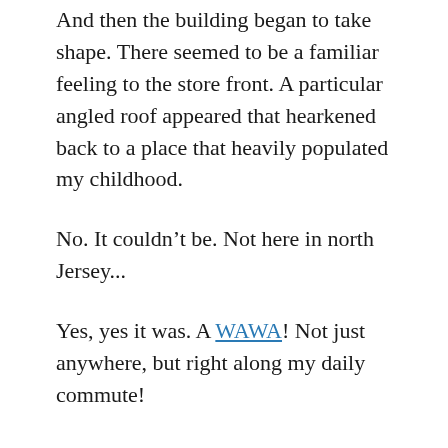And then the building began to take shape. There seemed to be a familiar feeling to the store front. A particular angled roof appeared that hearkened back to a place that heavily populated my childhood.
No. It couldn't be. Not here in north Jersey...
Yes, yes it was. A WAWA! Not just anywhere, but right along my daily commute!
It may seem silly, but in a land populated with Dunkin Donuts every 5 miles, Starbucks on every corner and crappy 7-11s and their ilk in the most inconvenient locations one thing I